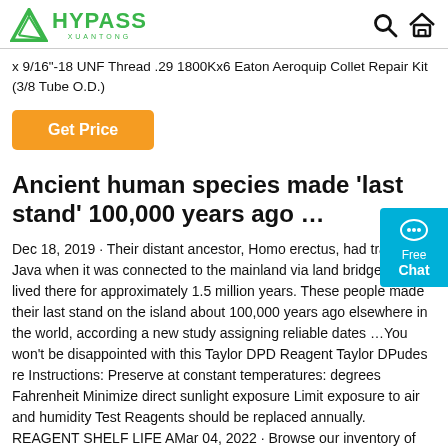HYPASS XUANTONG — logo with search and home icons
x 9/16"-18 UNF Thread .29 1800Kx6 Eaton Aeroquip Collet Repair Kit (3/8 Tube O.D.)
Get Price
Ancient human species made ‘last stand’ 100,000 years ago …
Dec 18, 2019 · Their distant ancestor, Homo erectus, had traveled to Java when it was connected to the mainland via land bridges and lived there for approximately 1.5 million years. These people made their last stand on the island about 100,000 years ago elsewhere in the world, according a new study assigning reliable dates …You won’t be disappointed with this Taylor DPD Reagent Taylor DPudes re Instructions: Preserve at constant temperatures: degrees Fahrenheit Minimize direct sunlight exposure Limit exposure to air and humidity Test Reagents should be replaced annually. REAGENT SHELF LIFE AMar 04, 2022 · Browse our inventory of new and used